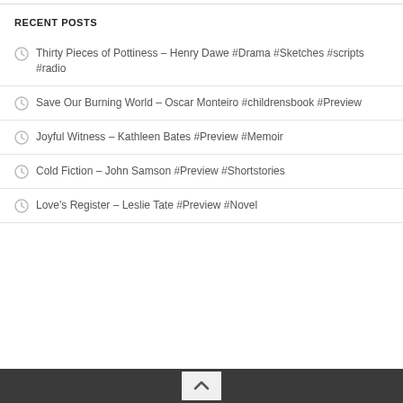RECENT POSTS
Thirty Pieces of Pottiness – Henry Dawe #Drama #Sketches #scripts #radio
Save Our Burning World – Oscar Monteiro #childrensbook #Preview
Joyful Witness – Kathleen Bates #Preview #Memoir
Cold Fiction – John Samson #Preview #Shortstories
Love's Register – Leslie Tate #Preview #Novel
Back to top